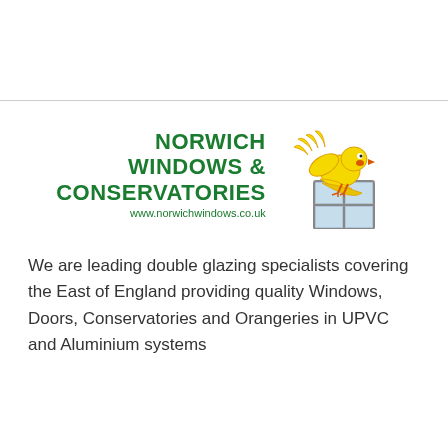[Figure (logo): Norwich Windows & Conservatories logo featuring bold green text with company name and website www.norwichwindows.co.uk, accompanied by a cartoon yellow bird perched on a window frame illustration]
We are leading double glazing specialists covering the East of England providing quality Windows, Doors, Conservatories and Orangeries in UPVC and Aluminium systems